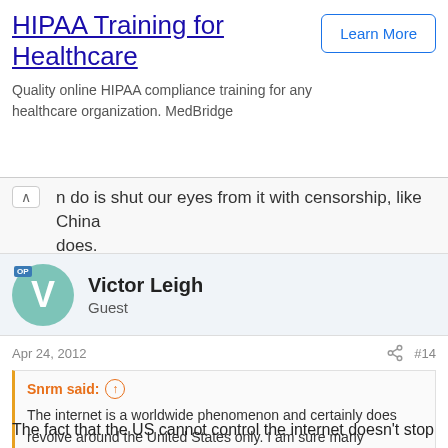[Figure (screenshot): Advertisement banner for HIPAA Training for Healthcare by MedBridge with a Learn More button]
n do is shut our eyes from it with censorship, like China does.
Victor Leigh
Guest
Apr 24, 2012  #14
Snrm said: The internet is a worldwide phenomenon and certainly does revolve around the United States only. I am sure many members of this forum are from all around the world! The United States has no way to take control of the Internet; the only thing that they can do is shut our eyes from it with censorship, like China does.
The fact that the US cannot control the internet doesn't stop